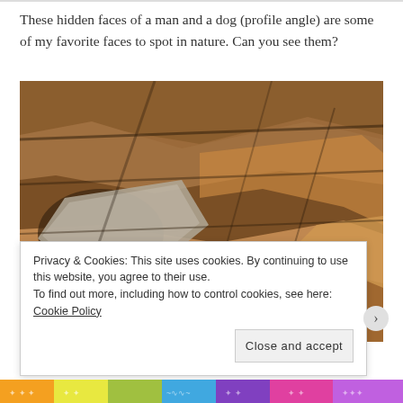These hidden faces of a man and a dog (profile angle) are some of my favorite faces to spot in nature. Can you see them?
[Figure (photo): Close-up photograph of rocky cliff face with layered brown, orange and grey stones. The rocks show natural weathering patterns.]
Privacy & Cookies: This site uses cookies. By continuing to use this website, you agree to their use.
To find out more, including how to control cookies, see here: Cookie Policy

Close and accept